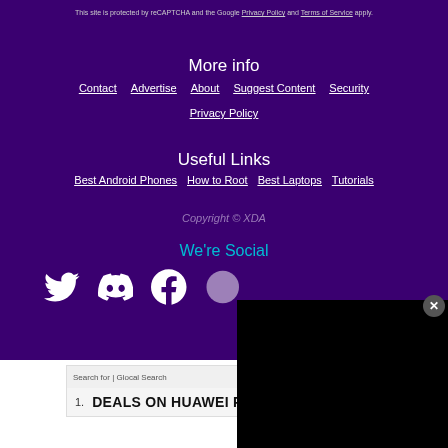This site is protected by reCAPTCHA and the Google Privacy Policy and Terms of Service apply.
More info
Contact
Advertise
About
Suggest Content
Security
Privacy Policy
Useful Links
Best Android Phones
How to Root
Best Laptops
Tutorials
Copyright © XDA
We're Social
[Figure (screenshot): Social media icons: Twitter, Discord, Facebook, and partially visible others on purple background]
[Figure (screenshot): Black video player overlay in bottom right]
Search for | Glocal Search
1. DEALS ON HUAWEI P30 PRO ›